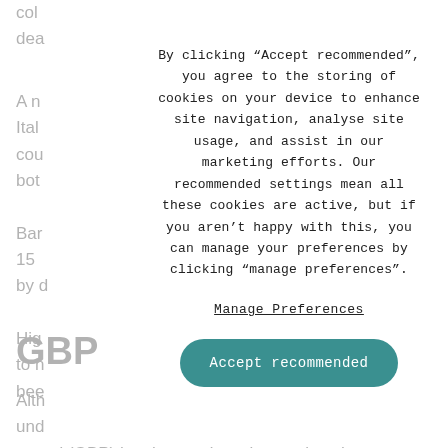col dea
A n Ital cou bot
Bar 15 d by d
Hig ed to n bee
GBP
Alth und pound (GBP) has been advancing against the euro
By clicking “Accept recommended”, you agree to the storing of cookies on your device to enhance site navigation, analyse site usage, and assist in our marketing efforts. Our recommended settings mean all these cookies are active, but if you aren’t happy with this, you can manage your preferences by clicking “manage preferences”.
Manage Preferences
Accept recommended